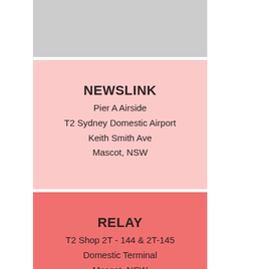[Figure (other): Gray card block at top, partially visible]
NEWSLINK
Pier A Airside
T2 Sydney Domestic Airport
Keith Smith Ave
Mascot, NSW
RELAY
T2 Shop 2T - 144 & 2T-145
Domestic Terminal
Mascot, NSW